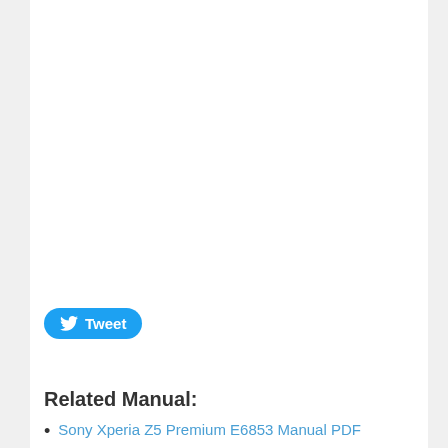[Figure (other): Twitter Tweet button with bird logo and 'Tweet' text on a rounded blue pill-shaped button]
Related Manual:
Sony Xperia Z5 Premium E6853 Manual PDF